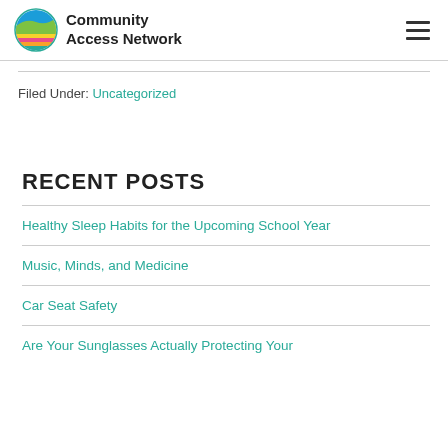Community Access Network
Filed Under: Uncategorized
RECENT POSTS
Healthy Sleep Habits for the Upcoming School Year
Music, Minds, and Medicine
Car Seat Safety
Are Your Sunglasses Actually Protecting Your